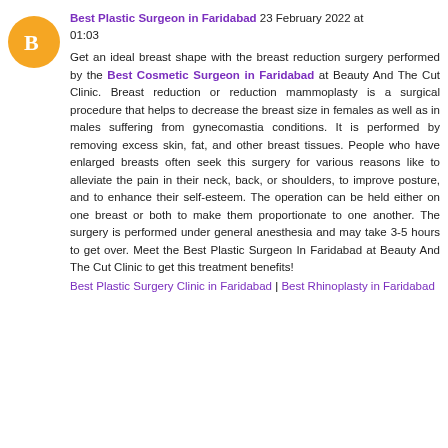[Figure (illustration): Orange circular avatar icon with a white blogger 'B' logo]
Best Plastic Surgeon in Faridabad 23 February 2022 at 01:03
Get an ideal breast shape with the breast reduction surgery performed by the Best Cosmetic Surgeon in Faridabad at Beauty And The Cut Clinic. Breast reduction or reduction mammoplasty is a surgical procedure that helps to decrease the breast size in females as well as in males suffering from gynecomastia conditions. It is performed by removing excess skin, fat, and other breast tissues. People who have enlarged breasts often seek this surgery for various reasons like to alleviate the pain in their neck, back, or shoulders, to improve posture, and to enhance their self-esteem. The operation can be held either on one breast or both to make them proportionate to one another. The surgery is performed under general anesthesia and may take 3-5 hours to get over. Meet the Best Plastic Surgeon In Faridabad at Beauty And The Cut Clinic to get this treatment benefits!
Best Plastic Surgery Clinic in Faridabad | Best Rhinoplasty in Faridabad